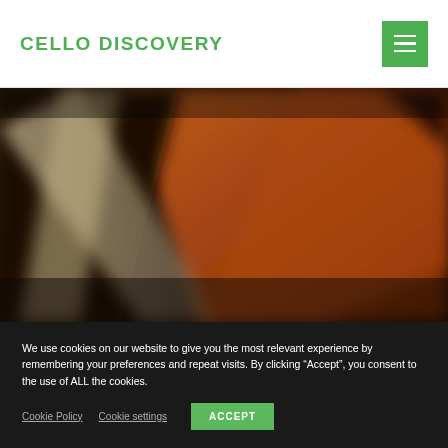CELLO DISCOVERY
[Figure (photo): Close-up blurred photograph of a cello body showing warm orange-brown wood tones and f-hole, with diagonal bow and instrument edges visible against dark background]
We use cookies on our website to give you the most relevant experience by remembering your preferences and repeat visits. By clicking “Accept”, you consent to the use of ALL the cookies.
Cookie Policy   Cookie settings   ACCEPT